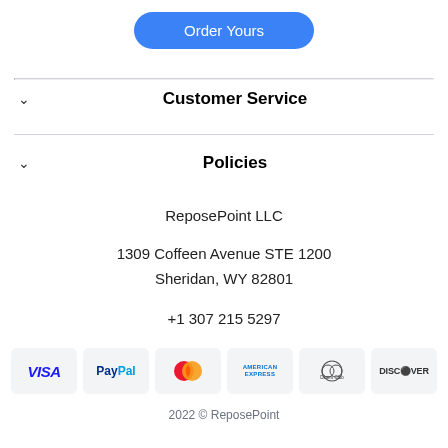Order Yours
Customer Service
Policies
ReposePoint LLC

1309 Coffeen Avenue STE 1200
Sheridan, WY 82801

+1 307 215 5297
[Figure (other): Payment method icons: VISA, PayPal, MasterCard, American Express, Diners Club, Discover]
2022 © ReposePoint